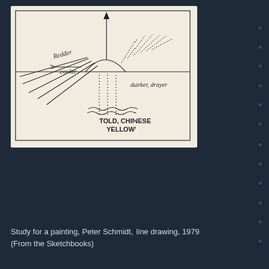[Figure (illustration): A hand-drawn line drawing sketch for a painting by Peter Schmidt, 1979. Shows a rectangular frame with an upward arrow at top center, diagonal lines from the left side labeled 'Redder/cooler' with a leftward arrow, a semicircle/arc in the middle area, radiating lines on the upper right suggesting light or sun rays, handwritten text 'darker, drayer' on the right middle, dotted vertical lines in the lower middle area with wavy lines above text reading 'TOLD, CHINESE YELLOW' at the bottom.]
Study for a painting, Peter Schmidt, line drawing, 1979
(From the Sketchbooks)